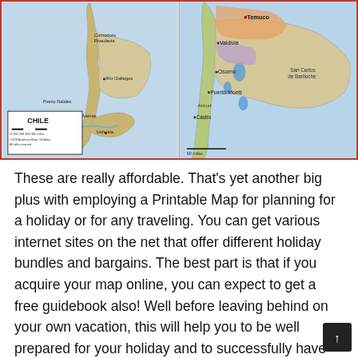[Figure (map): Map of Chile split into two panels. Left panel shows full Chile with Punta Arenas, Ushuaia, Rio Gallegos, Comodoro Rivadavia labeled, plus a legend box reading 'CHILE' with scale bar and copyright '©2010 Academia Maps, GeoAtlas, All rights reserved'. Right panel is a zoomed-in view of southern Chile showing Temuco, Valdivia, Osorno, Puerto Montt, Castro, Ancud, and San Carlos de Bariloche with '90 miles' scale.]
These are really affordable. That's yet another big plus with employing a Printable Map for planning for a holiday or for any traveling. You can get various internet sites on the net that offer different holiday bundles and bargains. The best part is that if you acquire your map online, you can expect to get a free guidebook also! Well before leaving behind on your own vacation, this will help you to be well prepared for your holiday and to successfully have everything you need. Should you be unsure of the instructions to adopt in your quest, a Printable